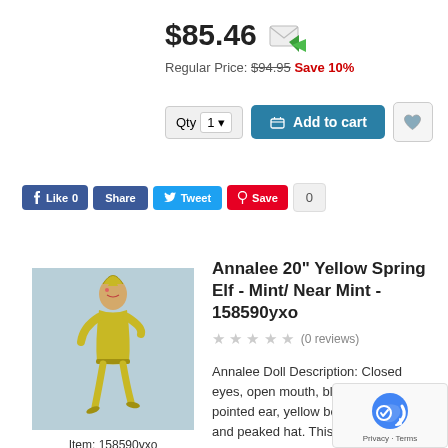$85.46
Regular Price: $94.95 Save 10%
Qty 1 | Add to cart
Like 0  Share  Tweet  Save  0
[Figure (photo): Yellow elf doll with pointed hat, closed eyes, open mouth, yellow body on blue background]
Item: 158590yxo
Years Made 1990
Made in USA
Annalee 20" Yellow Spring Elf - Mint/ Near Mint - 158590yxo
(0 reviews)
Annalee Doll Description: Closed eyes, open mouth, blonde hair, one pointed ear, yellow body, waistband, and peaked hat. This also comes in item 158590p. Made in Meredi USA.